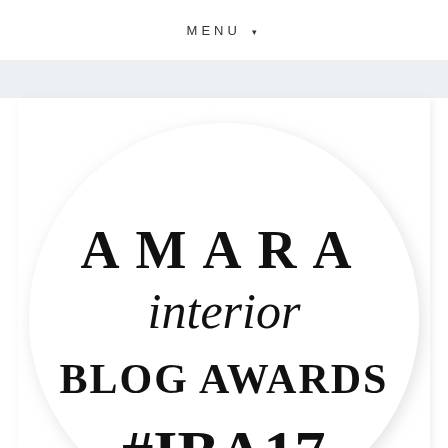MENU ▾
[Figure (logo): AMARA interior BLOG AWARDS #IBA17 circular badge/logo with serif and script typography on white circle with light shadow]